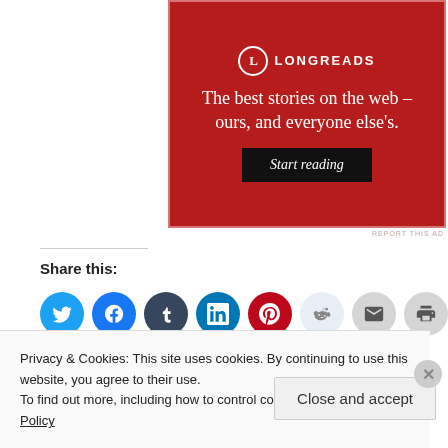[Figure (illustration): Longreads advertisement banner with red background. Logo at top with circle 'L' and 'LONGREADS' text. Tagline: 'The best stories on the web – ours, and everyone else's.' Black 'Start reading' button at bottom.]
REPORT THIS AD
Share this:
[Figure (other): Row of circular social share icons: Twitter (blue), Facebook (blue), Tumblr (dark), LinkedIn (teal), Pinterest (red), Reddit (light blue), Email (gray), Print (gray)]
Privacy & Cookies: This site uses cookies. By continuing to use this website, you agree to their use.
To find out more, including how to control cookies, see here: Cookie Policy
Close and accept